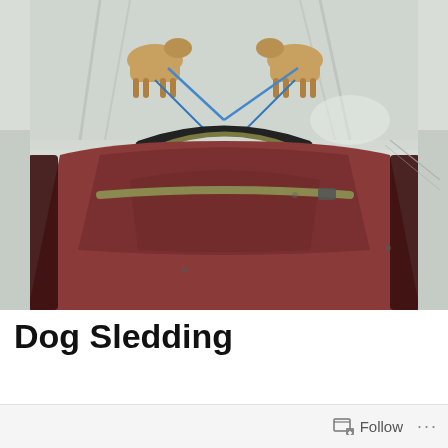[Figure (photo): Point-of-view photo from inside a dog sled looking forward. A red/maroon sled bag with straps is in the foreground. Two sled dogs are visible ahead on a snowy trail with blue harness lines connecting them to the sled. The trail is packed snow with tracks, and there are shadows cast by bright sunlight.]
Dog Sledding
Follow ...